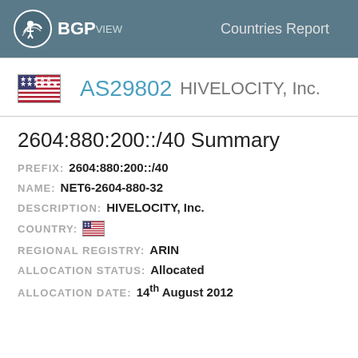BGPview Countries Report
AS29802 HIVELOCITY, Inc.
2604:880:200::/40 Summary
PREFIX: 2604:880:200::/40
NAME: NET6-2604-880-32
DESCRIPTION: HIVELOCITY, Inc.
COUNTRY: [US flag]
REGIONAL REGISTRY: ARIN
ALLOCATION STATUS: Allocated
ALLOCATION DATE: 14th August 2012